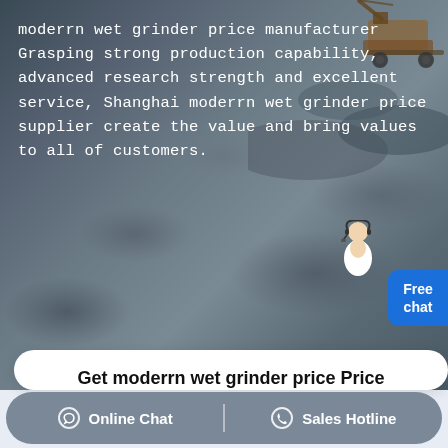[Figure (photo): Aerial view of a quarry/mining site with heavy machinery, dark rocky terrain with layered rock formations]
moderrn wet grinder price manufacturer Grasping strong production capability, advanced research strength and excellent service, Shanghai moderrn wet grinder price supplier create the value and bring values to all of customers.
[Figure (illustration): Customer service person avatar with Free chat button]
Get moderrn wet grinder price Price supplier@pfpew.com
Products: Please Select!
Capacity: >100 TPH  >50 TPH  >30 TPH
Online Chat   Sales Hotline